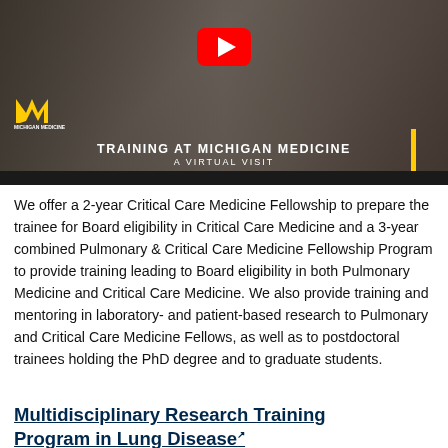[Figure (screenshot): YouTube video thumbnail showing a medical professional in a white coat interacting with a patient. Text overlay reads 'TRAINING AT MICHIGAN MEDICINE - A VIRTUAL VISIT'. University of Michigan Medicine logo visible in lower left. Red YouTube play button at top center. Yellow vertical bar accent on right side.]
We offer a 2-year Critical Care Medicine Fellowship to prepare the trainee for Board eligibility in Critical Care Medicine and a 3-year combined Pulmonary & Critical Care Medicine Fellowship Program to provide training leading to Board eligibility in both Pulmonary Medicine and Critical Care Medicine. We also provide training and mentoring in laboratory- and patient-based research to Pulmonary and Critical Care Medicine Fellows, as well as to postdoctoral trainees holding the PhD degree and to graduate students.
Multidisciplinary Research Training Program in Lung Disease